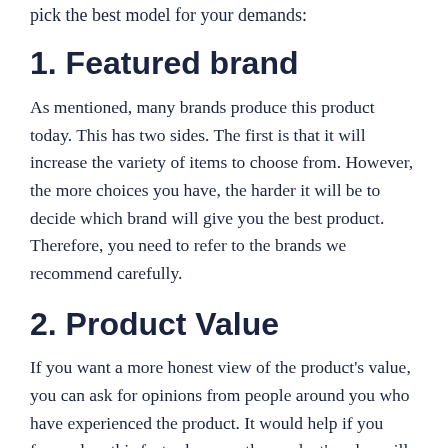pick the best model for your demands:
1. Featured brand
As mentioned, many brands produce this product today. This has two sides. The first is that it will increase the variety of items to choose from. However, the more choices you have, the harder it will be to decide which brand will give you the best product. Therefore, you need to refer to the brands we recommend carefully.
2. Product Value
If you want a more honest view of the product's value, you can ask for opinions from people around you who have experienced the product. It would help if you focused on this factor because the product's value will determine what you get after buying it.